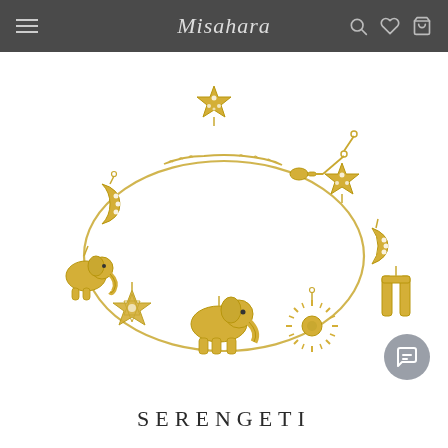Misahara
[Figure (photo): Gold charm bracelet with multiple charms including crescent moons, stars, elephants, sun, and Hebrew letter charms, with diamond accents, displayed on white background. Product is the Serengeti charm bracelet by Misahara.]
SERENGETI